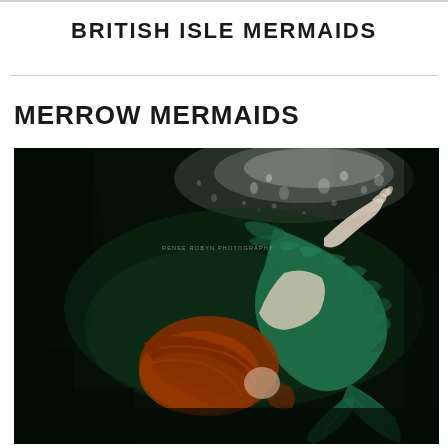BRITISH ISLE MERMAIDS
MERROW MERMAIDS
[Figure (photo): Underwater photograph of a person dressed as a mermaid with a teal/green scaled tail, red hair flowing, arms raised, swimming in dark green water with light bubbles and rocks visible. Watermark reads 'RENEE ROBYN PHOTOGRAPHY'.]